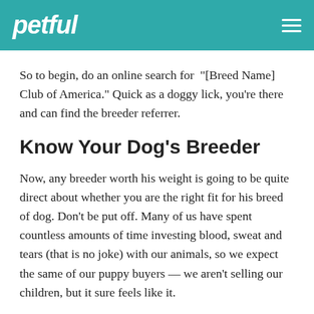petful
So to begin, do an online search for “[Breed Name] Club of America.” Quick as a doggy lick, you’re there and can find the breeder referrer.
Know Your Dog’s Breeder
Now, any breeder worth his weight is going to be quite direct about whether you are the right fit for his breed of dog. Don’t be put off. Many of us have spent countless amounts of time investing blood, sweat and tears (that is no joke) with our animals, so we expect the same of our puppy buyers — we aren’t selling our children, but it sure feels like it.